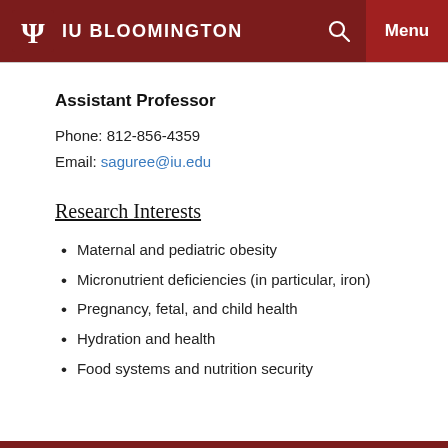IU BLOOMINGTON
Assistant Professor
Phone: 812-856-4359
Email: saguree@iu.edu
Research Interests
Maternal and pediatric obesity
Micronutrient deficiencies (in particular, iron)
Pregnancy, fetal, and child health
Hydration and health
Food systems and nutrition security